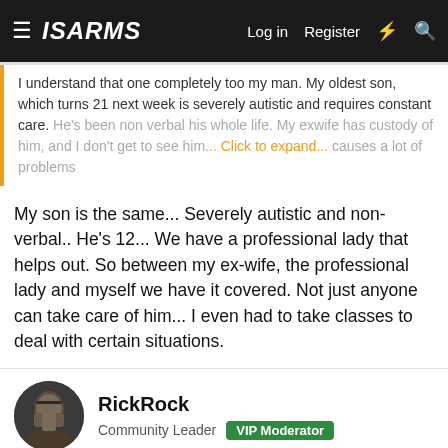ISARMS — Log in  Register
I understand that one completely too my man. My oldest son, which turns 21 next week is severely autistic and requires constant care. He's been non verbal his whole life. My exwife has custody of him, and I don't get to see him... Click to expand...
My son is the same... Severely autistic and non-verbal.. He's 12... We have a professional lady that helps out. So between my ex-wife, the professional lady and myself we have it covered. Not just anyone can take care of him... I even had to take classes to deal with certain situations.
RickRock
Community Leader  VIP Moderator
Aug 21, 2015  #18
Re: RE: Re: RE: Re: RE: Re: Hobbies (other than fitness LOL)